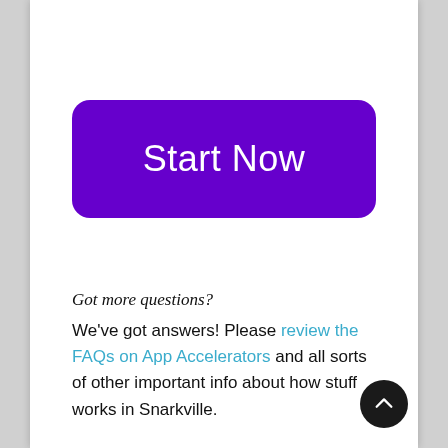[Figure (other): Large purple rounded rectangle button with white text reading 'Start Now']
Got more questions?
We've got answers! Please review the FAQs on App Accelerators and all sorts of other important info about how stuff works in Snarkville.